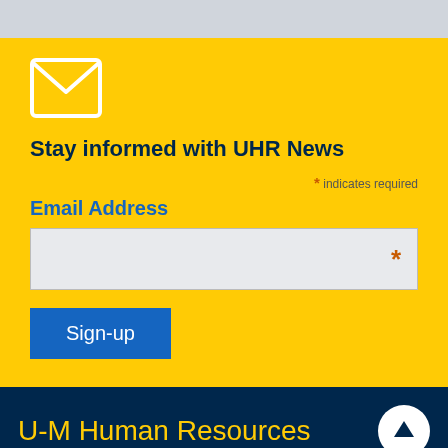[Figure (illustration): Light gray top bar banner]
[Figure (illustration): White envelope icon on yellow background]
Stay informed with UHR News
* indicates required
Email Address
[Figure (other): Email address input field with asterisk]
Sign-up
U-M Human Resources